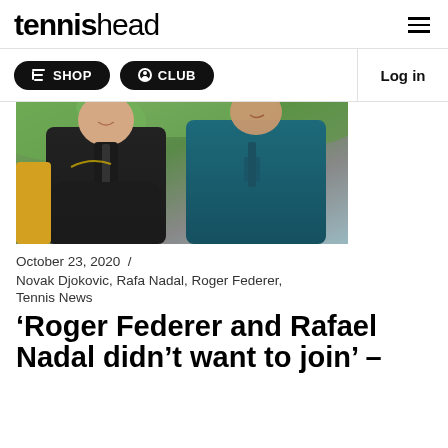tennishead
[Figure (screenshot): Navigation bar with SHOP and CLUB buttons and Log in link]
[Figure (photo): Two tennis players in sports jackets smiling outdoors, one in black Nike jacket and one in teal hoodie]
October 23, 2020  /
Novak Djokovic, Rafa Nadal, Roger Federer, Tennis News
‘Roger Federer and Rafael Nadal didn’t want to join’ –